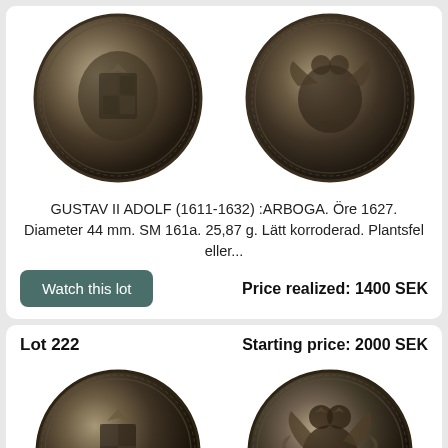[Figure (photo): Two views (obverse and reverse) of Gustav II Adolf Arboga Öre 1627 copper coin, dark patinated]
GUSTAV II ADOLF (1611-1632) :ARBOGA. Öre 1627. Diameter 44 mm. SM 161a. 25,87 g. Lätt korroderad. Plantsfel eller...
Watch this lot
Price realized: 1400 SEK
Lot 222
Starting price: 2000 SEK
[Figure (photo): Two views (obverse and reverse) of a Gustav II Adolf coin, dark bronze, showing royal arms and double-headed eagle]